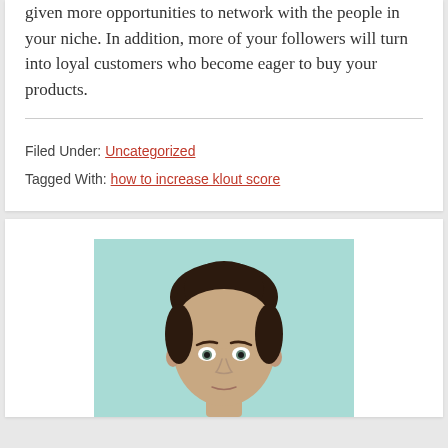given more opportunities to network with the people in your niche. In addition, more of your followers will turn into loyal customers who become eager to buy your products.
Filed Under: Uncategorized
Tagged With: how to increase klout score
[Figure (photo): Portrait photo of a young man with dark curly hair against a light teal/cyan background]